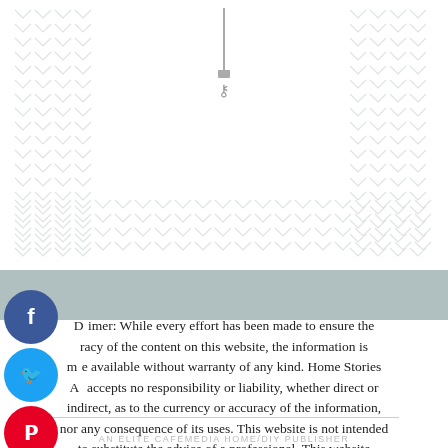[Figure (illustration): Decorative chevron/herringbone pattern background with a small key icon centered near top, light gray tones on white background]
Disclaimer: While every effort has been made to ensure the accuracy of the content on this website, the information is made available without warranty of any kind. Home Stories A to Z accepts no responsibility or liability, whether direct or indirect, as to the currency or accuracy of the information, nor any consequence of its uses. This website is not intended to substitute the advice of a professional. This website frequently uses affiliate links. Here is our full Privacy Policy.
AN ELITE CAFEMEDIA HOME/DIY PUBLISHER